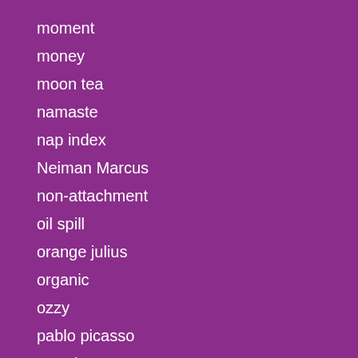moment
money
moon tea
namaste
nap index
Neiman Marcus
non-attachment
oil spill
orange julius
organic
ozzy
pablo picasso
parody
peak potentials
pearl jam